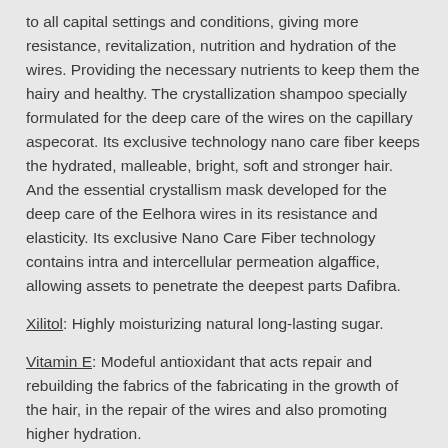to all capital settings and conditions, giving more resistance, revitalization, nutrition and hydration of the wires. Providing the necessary nutrients to keep them the hairy and healthy. The crystallization shampoo specially formulated for the deep care of the wires on the capillary aspecorat. Its exclusive technology nano care fiber keeps the hydrated, malleable, bright, soft and stronger hair. And the essential crystallism mask developed for the deep care of the Eelhora wires in its resistance and elasticity. Its exclusive Nano Care Fiber technology contains intra and intercellular permeation algaffice, allowing assets to penetrate the deepest parts Dafibra.
Xilitol: Highly moisturizing natural long-lasting sugar.
Vitamin E: Modeful antioxidant that acts repair and rebuilding the fabrics of the fabricating in the growth of the hair, in the repair of the wires and also promoting higher hydration.
Keratin: Repairs all the porosity of fiber, recovering and